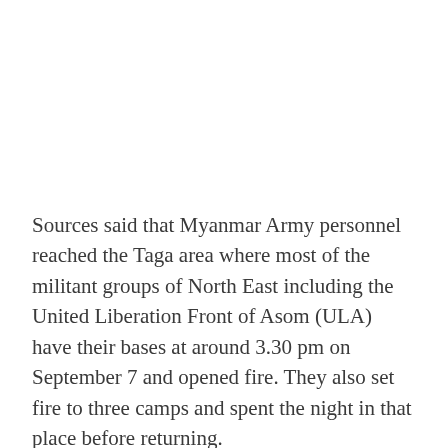Sources said that Myanmar Army personnel reached the Taga area where most of the militant groups of North East including the United Liberation Front of Asom (ULA) have their bases at around 3.30 pm on September 7 and opened fire. They also set fire to three camps and spent the night in that place before returning.
According to estimates of the security forces, around 400 to 500 members of militant groups were staying in the